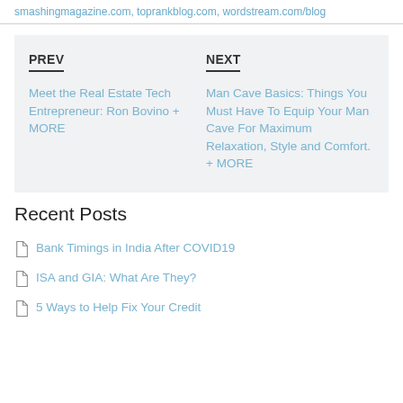smashingmagazine.com, toprankblog.com, wordstream.com/blog
PREV
Meet the Real Estate Tech Entrepreneur: Ron Bovino + MORE
NEXT
Man Cave Basics: Things You Must Have To Equip Your Man Cave For Maximum Relaxation, Style and Comfort. + MORE
Recent Posts
Bank Timings in India After COVID19
ISA and GIA: What Are They?
5 Ways to Help Fix Your Credit